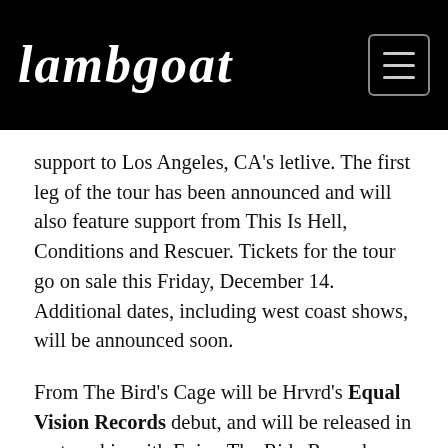lambgoat
support to Los Angeles, CA's letlive. The first leg of the tour has been announced and will also feature support from This Is Hell, Conditions and Rescuer. Tickets for the tour go on sale this Friday, December 14. Additional dates, including west coast shows, will be announced soon.
From The Bird's Cage will be Hrvrd's Equal Vision Records debut, and will be released in partnership with Enjoy The Ride Records. The album was recorded at Salad Days Studios in Baltimore, MD with producer Brian McTernan (Circa Survive, Senses Fail). Hrvrd